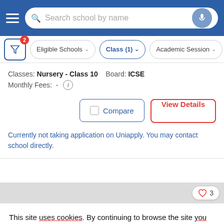Search school by name
Eligible Schools | Class (1) | Academic Session
Classes: Nursery - Class 10   Board: ICSE
Monthly Fees: -
Compare   View Details
Currently not taking application on Uniapply. You may contact school directly.
[Figure (photo): School building image thumbnail with heart/like badge showing 3 likes]
This site uses cookies. By continuing to browse the site you are agreeing to our use of cookies.
This will help to provide better user experience.
Ok, I Understand